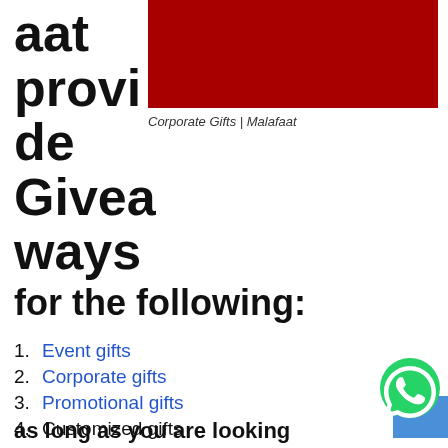aat provide Giveaways
[Figure (illustration): Dark red/crimson rectangular block in the upper right area of the page]
Corporate Gifts | Malafaat
for the following:
1. Event gifts
2. Corporate gifts
3. Promotional gifts
4. Customized gifts
as long as you are looking
[Figure (logo): WhatsApp green circular logo button in the bottom right corner]